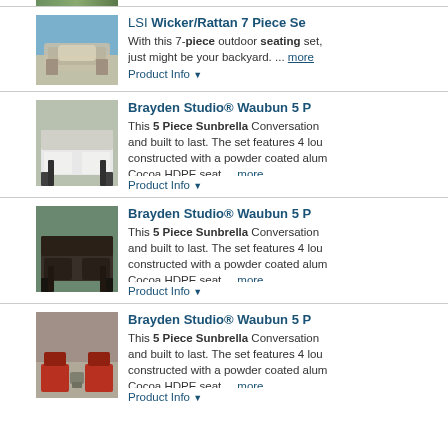[Figure (photo): Partial image of outdoor furniture/greenery at top]
[Figure (photo): LSI Wicker/Rattan 7 Piece outdoor seating set with blue water background]
LSI Wicker/Rattan 7 Piece Se... With this 7-piece outdoor seating set, just might be your backyard. ... more
Product Info ▼
[Figure (photo): Brayden Studio Waubun 5 Piece Sunbrella chair with white cushions on patio]
Brayden Studio® Waubun 5 P... This 5 Piece Sunbrella Conversation and built to last. The set features 4 lou constructed with a powder coated alum Cocoa HDPE seat ... more
Product Info ▼
[Figure (photo): Brayden Studio Waubun 5 Piece Sunbrella dark chair on patio with green background]
Brayden Studio® Waubun 5 P... This 5 Piece Sunbrella Conversation and built to last. The set features 4 lou constructed with a powder coated alum Cocoa HDPE seat ... more
Product Info ▼
[Figure (photo): Brayden Studio Waubun 5 Piece Sunbrella red chairs with stone fireplace background]
Brayden Studio® Waubun 5 P... This 5 Piece Sunbrella Conversation and built to last. The set features 4 lou constructed with a powder coated alum Cocoa HDPE seat ... more
Product Info ▼